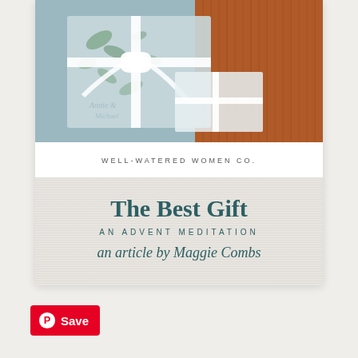[Figure (photo): Gift boxes with white ribbon and bow, blue and white wrapping paper with botanical print, on an orange/rust colored background. Photo by Well-Watered Women Co.]
WELL-WATERED WOMEN CO.
The Best Gift
AN ADVENT MEDITATION
an article by Maggie Combs
Save